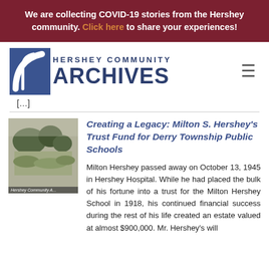We are collecting COVID-19 stories from the Hershey community. Click here to share your experiences!
[Figure (logo): Hershey Community Archives logo with blue square graphic and text]
[...]
Creating a Legacy: Milton S. Hershey's Trust Fund for Derry Township Public Schools
Milton Hershey passed away on October 13, 1945 in Hershey Hospital. While he had placed the bulk of his fortune into a trust for the Milton Hershey School in 1918, his continued financial success during the rest of his life created an estate valued at almost $900,000. Mr. Hershey's will